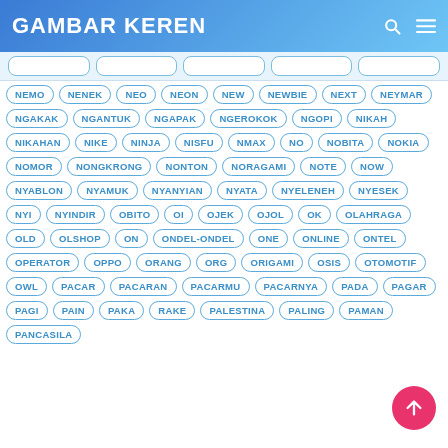GAMBAR KEREN
NEMO
NENEK
NEO
NEON
NEW
NEWBIE
NEXT
NEYMAR
NGAKAK
NGANTUK
NGAPAK
NGEROKOK
NGOPI
NIKAH
NIKAHAN
NIKE
NINJA
NISFU
NMAX
NO
NOBITA
NOKIA
NOMOR
NONGKRONG
NONTON
NORAGAMI
NOTE
NOW
NYABLON
NYAMUK
NYANYIAN
NYATA
NYELENEH
NYESEK
NYI
NYINDIR
OBITO
OI
OJEK
OJOL
OK
OLAHRAGA
OLD
OLSHOP
ON
ONDEL-ONDEL
ONE
ONLINE
ONTEL
OPERATOR
OPPO
ORANG
ORG
ORIGAMI
OSIS
OTOMOTIF
OWL
PACAR
PACARAN
PACARMU
PACARNYA
PADA
PAGAR
PAGI
PAIN
PAKA
RAKE
PALESTINA
PALING
PAMAN
PANCASILA